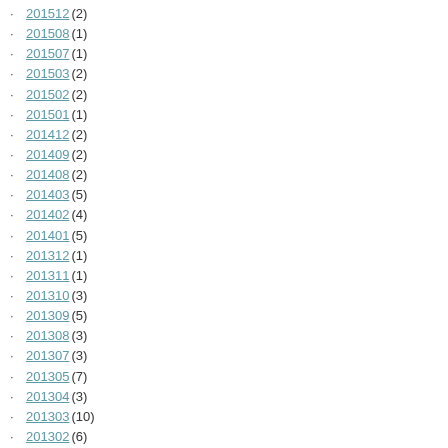201512 (2)
201508 (1)
201507 (1)
201503 (2)
201502 (2)
201501 (1)
201412 (2)
201409 (2)
201408 (2)
201403 (5)
201402 (4)
201401 (5)
201312 (1)
201311 (1)
201310 (3)
201309 (5)
201308 (3)
201307 (3)
201305 (7)
201304 (3)
201303 (10)
201302 (6)
201301 (9)
201212 (2)